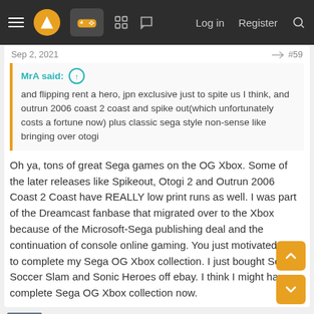Log in  Register
Sep 2, 2021  #59
MrA said: ↑
and flipping rent a hero, jpn exclusive just to spite us I think, and outrun 2006 coast 2 coast and spike out(which unfortunately costs a fortune now) plus classic sega style non-sense like bringing over otogi
Oh ya, tons of great Sega games on the OG Xbox. Some of the later releases like Spikeout, Otogi 2 and Outrun 2006 Coast 2 Coast have REALLY low print runs as well. I was part of the Dreamcast fanbase that migrated over to the Xbox because of the Microsoft-Sega publishing deal and the continuation of console online gaming. You just motivated me to complete my Sega OG Xbox collection. I just bought Sega Soccer Slam and Sonic Heroes off ebay. I think I might have a complete Sega OG Xbox collection now.
Barmslue